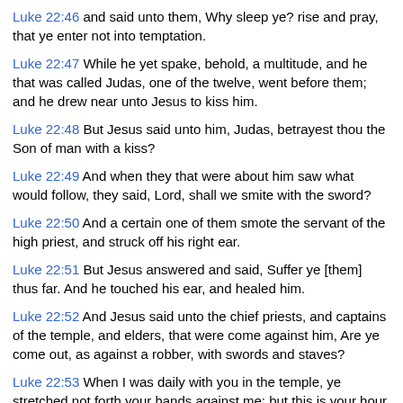Luke 22:46 and said unto them, Why sleep ye? rise and pray, that ye enter not into temptation.
Luke 22:47 While he yet spake, behold, a multitude, and he that was called Judas, one of the twelve, went before them; and he drew near unto Jesus to kiss him.
Luke 22:48 But Jesus said unto him, Judas, betrayest thou the Son of man with a kiss?
Luke 22:49 And when they that were about him saw what would follow, they said, Lord, shall we smite with the sword?
Luke 22:50 And a certain one of them smote the servant of the high priest, and struck off his right ear.
Luke 22:51 But Jesus answered and said, Suffer ye [them] thus far. And he touched his ear, and healed him.
Luke 22:52 And Jesus said unto the chief priests, and captains of the temple, and elders, that were come against him, Are ye come out, as against a robber, with swords and staves?
Luke 22:53 When I was daily with you in the temple, ye stretched not forth your hands against me: but this is your hour, and the power of darkness.
Luke 22:54 And they seized him, and led him [away], and brought him into the high priest`s house. But Peter followed afar off.
Luke 22:55 And when they had kindled a fire in the midst of the court, and...